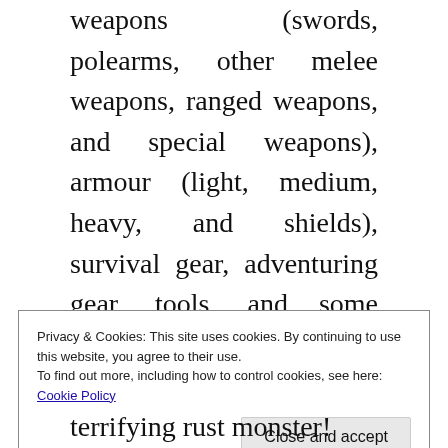weapons (swords, polearms, other melee weapons, ranged weapons, and special weapons), armour (light, medium, heavy, and shields), survival gear, adventuring gear, tools, and some special packs for more specialized endeavours (burglar's pack, dungeoneer's pack, explorer's pack, and vampire hunter's pack). All of the weapon and armour entries talk about the pros and cons of utilizing items of that types, and showcases a few popular versions. The other equipment entries talk
Privacy & Cookies: This site uses cookies. By continuing to use this website, you agree to their use.
To find out more, including how to control cookies, see here:
Cookie Policy
terrifying rust monster!